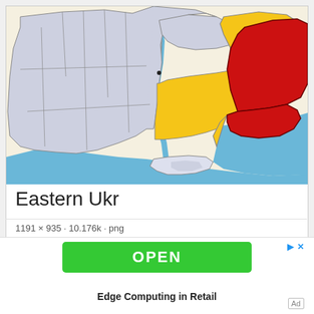[Figure (map): Map of Ukraine showing eastern regions highlighted in red and yellow/gold, with water bodies in blue and western/central regions in light gray/lavender. Crimea peninsula visible in the south.]
Eastern Ukr
1181 × 935 · 10.176k · png
[Figure (other): Advertisement: Green OPEN button with ad controls (play and close icons), text 'Edge Computing in Retail', and Ad label in bottom right.]